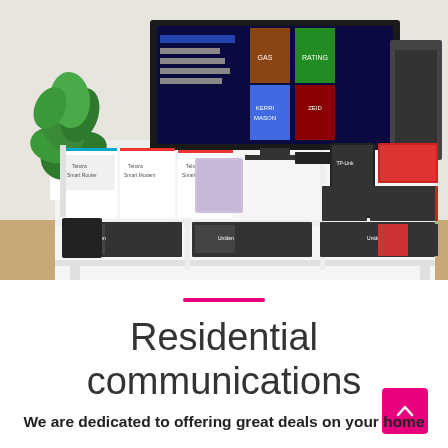[Figure (photo): A retail store shelf display showing a TV on top playing streaming content (with movie/TV show covers visible on screen), speaker, and shelves below filled with boxed products including smart modems, routers, and other home networking devices. A green potted plant is visible on the left side.]
Residential communications
We are dedicated to offering great deals on your home